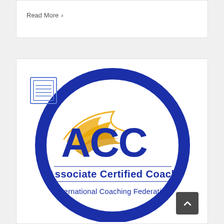Read More >
[Figure (logo): ACC Associate Certified Coach - International Coaching Federation circular badge logo with dark blue ring, white center, gold swoosh/wing graphic, and 'ACC' in large dark blue letters with 'Associate Certified Coach' and 'International Coaching Federation' text below]